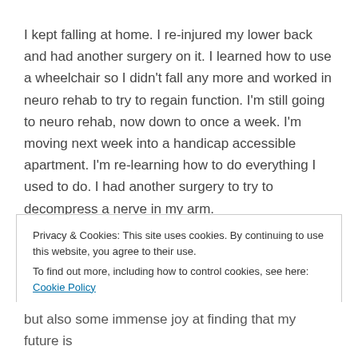I kept falling at home. I re-injured my lower back and had another surgery on it. I learned how to use a wheelchair so I didn't fall any more and worked in neuro rehab to try to regain function. I'm still going to neuro rehab, now down to once a week. I'm moving next week into a handicap accessible apartment. I'm re-learning how to do everything I used to do. I had another surgery to try to decompress a nerve in my arm.
Privacy & Cookies: This site uses cookies. By continuing to use this website, you agree to their use.
To find out more, including how to control cookies, see here: Cookie Policy
Close and accept
but also some immense joy at finding that my future is